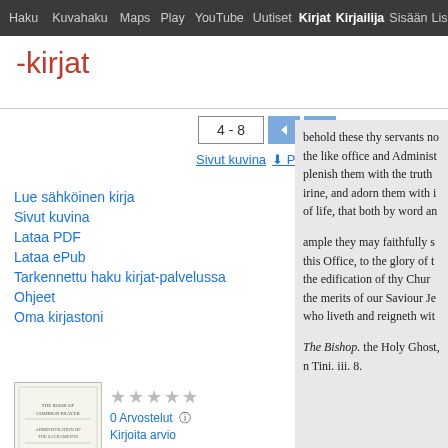Haku  Kuvahaku  Maps  Play  YouTube  Uutiset  Kirjat  Kirjailija  Sisään  Lisää
-kirjat
4 - 8
Sivut kuvina  ⬇ PDF  ⬇ ePub
Lue sähköinen kirja
Sivut kuvina
Lataa PDF
Lataa ePub
Tarkennettu haku kirjat-palvelussa
Ohjeet
Oma kirjastoni
[Figure (illustration): Thumbnail image of book cover for The Book of Common Prayer]
★★★★★
0 Arvostelut
Kirjoita arvio
The Book of Common Prayer: And Administration of the Sacraments, and
behold these thy servants no the like office and Administ plenish them with the truth irine, and adorn them with i of life, that both by word an

 ample they may faithfully s this Office, to the glory of t the edification of thy Chur the merits of our Saviour Je who liveth and reigneth wit

The Bishop. the Holy Ghost, n Tini. iii. 8.